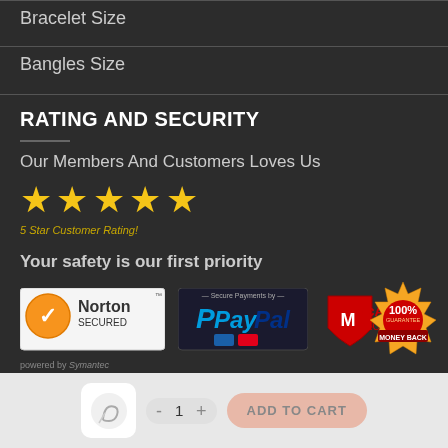Bracelet Size
Bangles Size
RATING AND SECURITY
Our Members And Customers Loves Us
[Figure (illustration): Five gold stars representing 5 Star Customer Rating]
5 Star Customer Rating!
Your safety is our first priority
[Figure (logo): Security badges: Norton Secured powered by Symantec, Secure Payments by PayPal, McAfee Secure, 100% Money Back Guarantee]
powered by Symantec
[Figure (illustration): Bottom cart bar with product thumbnail, quantity selector (-1+), and ADD TO CART button]